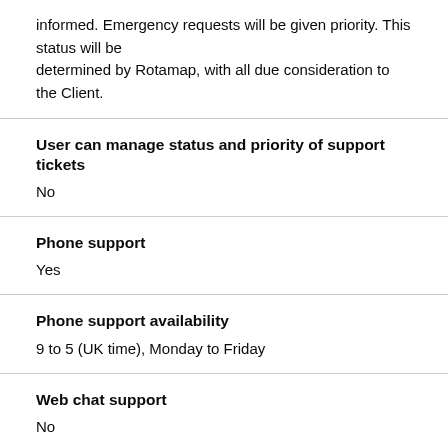informed. Emergency requests will be given priority. This status will be determined by Rotamap, with all due consideration to the Client.
User can manage status and priority of support tickets
No
Phone support
Yes
Phone support availability
9 to 5 (UK time), Monday to Friday
Web chat support
No
Onsite support